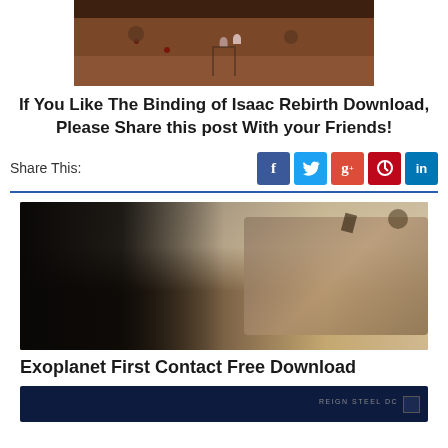[Figure (screenshot): Top portion of a game screenshot showing The Binding of Isaac Rebirth dungeon room with brown stone walls and characters]
If You Like The Binding of Isaac Rebirth Download, Please Share this post With your Friends!
Share This:
[Figure (illustration): Fantasy artwork showing a dark armored warrior figure against a desolate landscape with ruins and flying creatures]
Exoplanet First Contact Free Download
[Figure (screenshot): Bottom partial screenshot with dark blue background, small text label and checkbox]